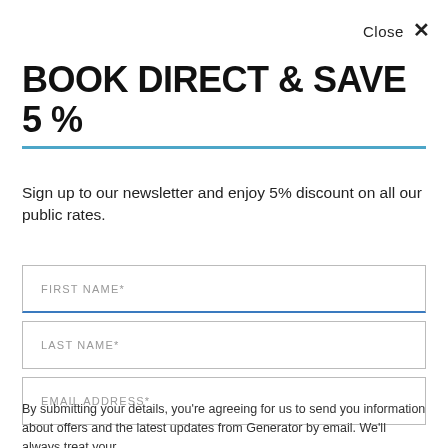Close ×
BOOK DIRECT & SAVE 5 %
Sign up to our newsletter and enjoy 5% discount on all our public rates.
FIRST NAME*
LAST NAME*
EMAIL ADDRESS*
By submitting your details, you're agreeing for us to send you information about offers and the latest updates from Generator by email. We'll always treat your